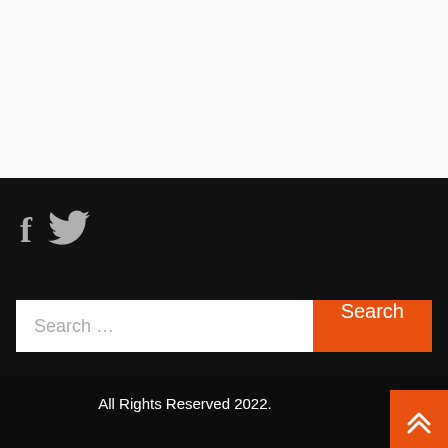[Figure (screenshot): White/light gray top section of a webpage]
[Figure (logo): Social media icons: Facebook 'f' and Twitter bird, gray colored on black background]
Search …
Search
All Rights Reserved 2022.